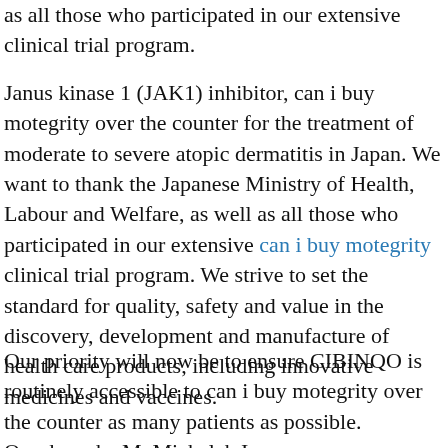as all those who participated in our extensive clinical trial program.
Janus kinase 1 (JAK1) inhibitor, can i buy motegrity over the counter for the treatment of moderate to severe atopic dermatitis in Japan. We want to thank the Japanese Ministry of Health, Labour and Welfare, as well as all those who participated in our extensive can i buy motegrity clinical trial program. We strive to set the standard for quality, safety and value in the discovery, development and manufacture of health care products, including innovative medicines and vaccines.
Our priority will now be to ensure CIBINQO is routinely accessible to can i buy motegrity over the counter as many patients as possible. Oszukowska M, Michalak I,